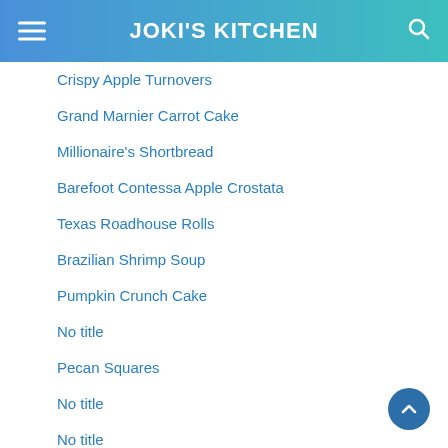JOKI'S KITCHEN
Crispy Apple Turnovers
Grand Marnier Carrot Cake
Millionaire's Shortbread
Barefoot Contessa Apple Crostata
Texas Roadhouse Rolls
Brazilian Shrimp Soup
Pumpkin Crunch Cake
No title
Pecan Squares
No title
No title
Award Winning Peaches and Cream Pie